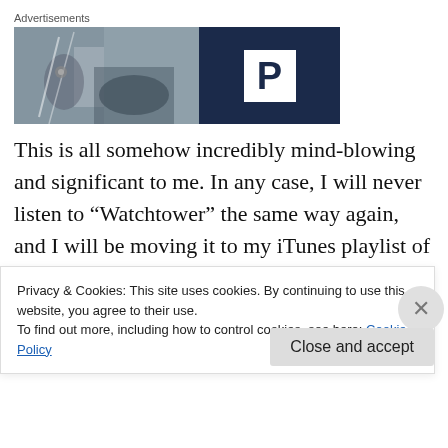Advertisements
[Figure (photo): Advertisement banner: left half shows a blurred street/storefront photo with a person visible, right half is a dark navy blue background with a large white square containing a bold letter P (parking symbol)]
This is all somehow incredibly mind-blowing and significant to me. In any case, I will never listen to “Watchtower” the same way again, and I will be moving it to my iTunes playlist of songs about Dionysus. That
Privacy & Cookies: This site uses cookies. By continuing to use this website, you agree to their use.
To find out more, including how to control cookies, see here: Cookie Policy
Close and accept